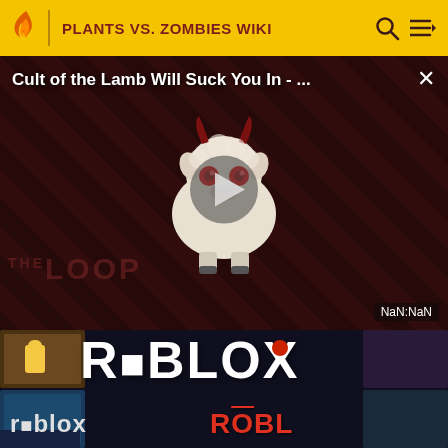PLANTS VS. ZOMBIES WIKI
[Figure (screenshot): Video player showing 'Cult of the Lamb Will Suck You In - ...' with a cartoon demon lamb character, diagonal red/dark stripe background, play button overlay, THE LOOP watermark, and NaN:NaN timestamp]
[Figure (screenshot): Roblox promotional banner showing multiple Roblox logo variations and game thumbnails in dark background]